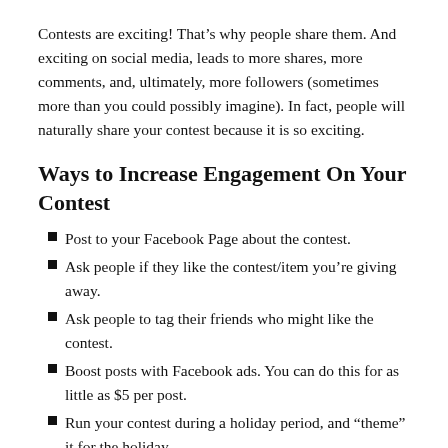Contests are exciting! That’s why people share them. And exciting on social media, leads to more shares, more comments, and, ultimately, more followers (sometimes more than you could possibly imagine). In fact, people will naturally share your contest because it is so exciting.
Ways to Increase Engagement On Your Contest
Post to your Facebook Page about the contest.
Ask people if they like the contest/item you’re giving away.
Ask people to tag their friends who might like the contest.
Boost posts with Facebook ads. You can do this for as little as $5 per post.
Run your contest during a holiday period, and “theme” it for the holiday.
Choose an exciting prize.